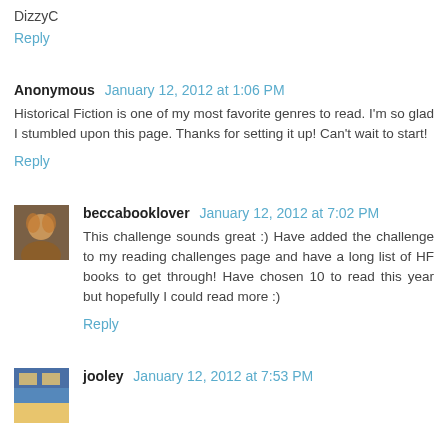DizzyC
Reply
Anonymous January 12, 2012 at 1:06 PM
Historical Fiction is one of my most favorite genres to read. I'm so glad I stumbled upon this page. Thanks for setting it up! Can't wait to start!
Reply
beccabooklover January 12, 2012 at 7:02 PM
This challenge sounds great :) Have added the challenge to my reading challenges page and have a long list of HF books to get through! Have chosen 10 to read this year but hopefully I could read more :)
Reply
jooley January 12, 2012 at 7:53 PM